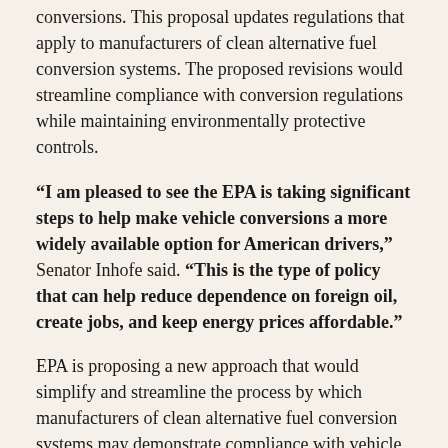conversions. This proposal updates regulations that apply to manufacturers of clean alternative fuel conversion systems. The proposed revisions would streamline compliance with conversion regulations while maintaining environmentally protective controls.
“I am pleased to see the EPA is taking significant steps to help make vehicle conversions a more widely available option for American drivers,” Senator Inhofe said. “This is the type of policy that can help reduce dependence on foreign oil, create jobs, and keep energy prices affordable.”
EPA is proposing a new approach that would simplify and streamline the process by which manufacturers of clean alternative fuel conversion systems may demonstrate compliance with vehicle and engine emissions requirements. The new options would reduce some economic and procedural impediments to clean alternative fuel conversions while maintaining environmental